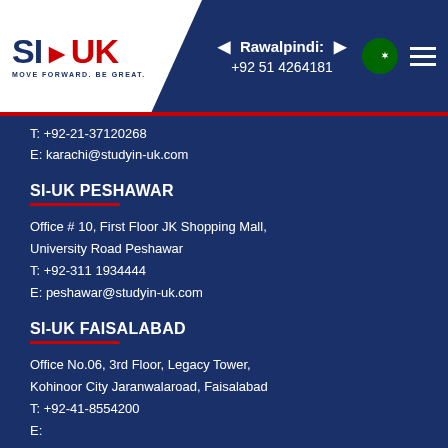Rawalpindi: +92 51 4264181
T: +92-21-37120268
E: karachi@studyin-uk.com
SI-UK PESHAWAR
Office # 10, First Floor JK Shopping Mall,
University Road Peshawar
T: +92-311 1934444
E: peshawar@studyin-uk.com
SI-UK FAISALABAD
Office No.06, 3rd Floor, Legacy Tower,
Kohinoor City Jaranwalaroad, Faisalabad
T: +92-41-8554200
E:
SI-UK SAHIWAL
Office # 1, Rehman Plaza, Hali